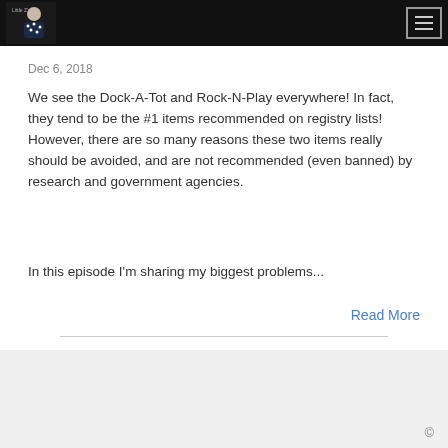Little Zs [logo with navigation menu button]
Dec 6, 2018
We see the Dock-A-Tot and Rock-N-Play everywhere! In fact, they tend to be the #1 items recommended on registry lists! However, there are so many reasons these two items really should be avoided, and are not recommended (even banned) by research and government agencies.
In this episode I'm sharing my biggest problems...
Read More
©